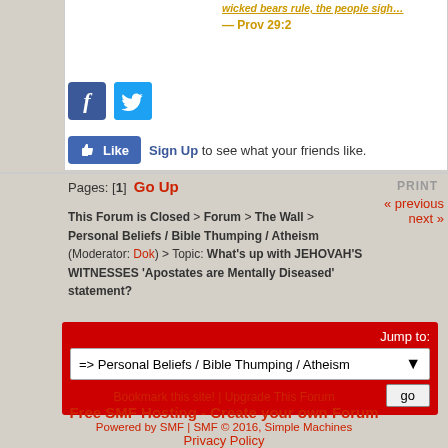wicked bears rule, the people sigh — Prov 29:2
[Figure (other): Facebook and Twitter social share icons]
Sign Up to see what your friends like.
Pages: [1]  Go Up
PRINT
« previous
next »
This Forum is Closed > Forum > The Wall > Personal Beliefs / Bible Thumping / Atheism (Moderator: Dok) > Topic: What's up with JEHOVAH'S WITNESSES 'Apostates are Mentally Diseased' statement?
Jump to:
=> Personal Beliefs / Bible Thumping / Atheism
go
Bookmark this site! | Upgrade This Forum
Free SMF Hosting - Create your own Forum
Powered by SMF | SMF © 2016, Simple Machines
Privacy Policy
Page created in 0.071 seconds with 17 queries.